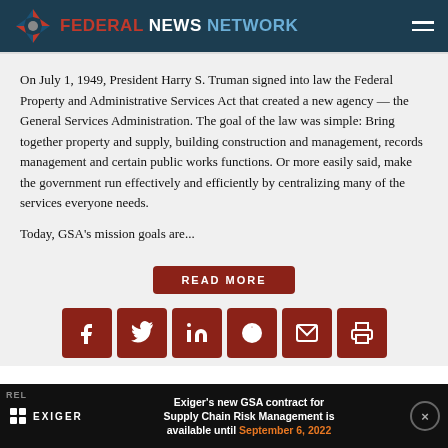FEDERAL NEWS NETWORK
On July 1, 1949, President Harry S. Truman signed into law the Federal Property and Administrative Services Act that created a new agency — the General Services Administration. The goal of the law was simple: Bring together property and supply, building construction and management, records management and certain public works functions. Or more easily said, make the government run effectively and efficiently by centralizing many of the services everyone needs.
Today, GSA's mission goals are...
READ MORE
[Figure (infographic): Social sharing icons: Facebook, Twitter, LinkedIn, Reddit, Email, Print]
Exiger's new GSA contract for Supply Chain Risk Management is available until September 6, 2022